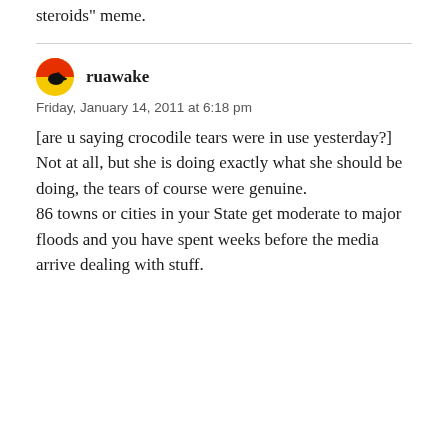steroids" meme.
ruawake
Friday, January 14, 2011 at 6:18 pm
[are u saying crocodile tears were in use yesterday?]
Not at all, but she is doing exactly what she should be doing, the tears of course were genuine.
86 towns or cities in your State get moderate to major floods and you have spent weeks before the media arrive dealing with stuff.